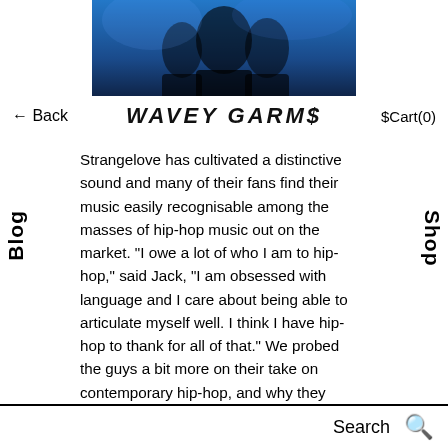[Figure (photo): Dark blue-toned photo of a person on stage, partially visible above navigation bar]
← Back   WAVEY GARMS   $Cart(0)
Strangelove has cultivated a distinctive sound and many of their fans find their music easily recognisable among the masses of hip-hop music out on the market. "I owe a lot of who I am to hip-hop," said Jack, "I am obsessed with language and I care about being able to articulate myself well. I think I have hip-hop to thank for all of that." We probed the guys a bit more on their take on contemporary hip-hop, and why they think it's so universally accepted that two linfords from London can do it just as well as anyone from New York. Jack and Josh both agreed that the internet plays a massive role in this; "everything's available a finger click away, and
Search 🔍